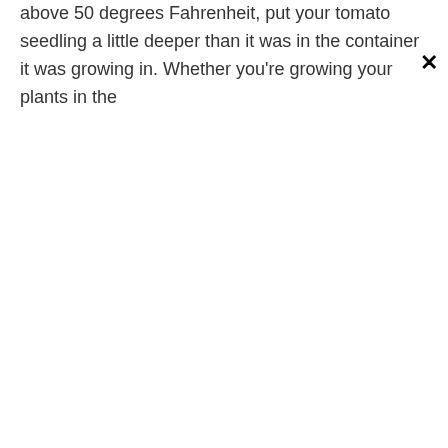above 50 degrees Fahrenheit, put your tomato seedling a little deeper than it was in the container it was growing in. Whether you're growing your plants in the